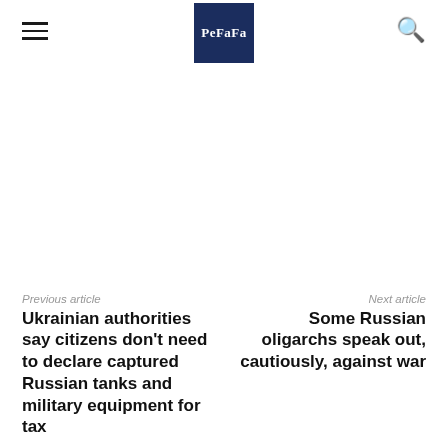PeFaFa
Previous article
Next article
Ukrainian authorities say citizens don't need to declare captured Russian tanks and military equipment for tax
Some Russian oligarchs speak out, cautiously, against war